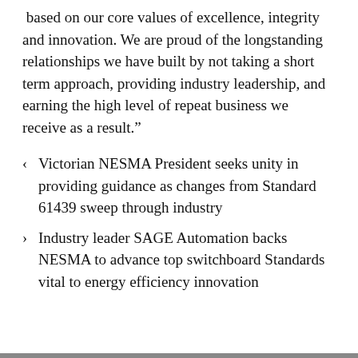based on our core values of excellence, integrity and innovation. We are proud of the longstanding relationships we have built by not taking a short term approach, providing industry leadership, and earning the high level of repeat business we receive as a result.”
‹  Victorian NESMA President seeks unity in providing guidance as changes from Standard 61439 sweep through industry
›  Industry leader SAGE Automation backs NESMA to advance top switchboard Standards vital to energy efficiency innovation